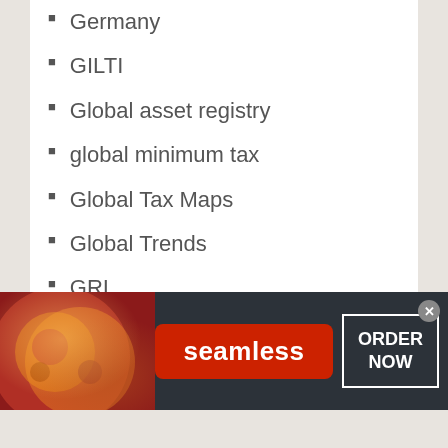Germany
GILTI
Global asset registry
global minimum tax
Global Tax Maps
Global Trends
GRI
Grocery and Food
Gross Receipts and Margin Taxes
gross receipts tax
Gross Receipts Taxes
guaridas fiscales
Guinea-Bissau
[Figure (infographic): Seamless food delivery advertisement banner with pizza image on left, red Seamless logo button in center, and ORDER NOW button on right, on dark background.]